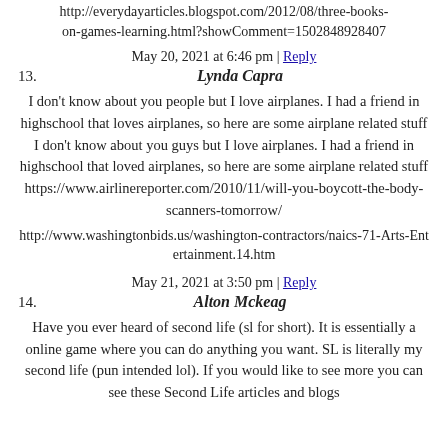http://everydayarticles.blogspot.com/2012/08/three-books-on-games-learning.html?showComment=1502848928407
May 20, 2021 at 6:46 pm | Reply
13. Lynda Capra
I don't know about you people but I love airplanes. I had a friend in highschool that loves airplanes, so here are some airplane related stuff I don't know about you guys but I love airplanes. I had a friend in highschool that loved airplanes, so here are some airplane related stuff https://www.airlinereporter.com/2010/11/will-you-boycott-the-body-scanners-tomorrow/
http://www.washingtonbids.us/washington-contractors/naics-71-Arts-Entertainment.14.htm
May 21, 2021 at 3:50 pm | Reply
14. Alton Mckeag
Have you ever heard of second life (sl for short). It is essentially a online game where you can do anything you want. SL is literally my second life (pun intended lol). If you would like to see more you can see these Second Life articles and blogs